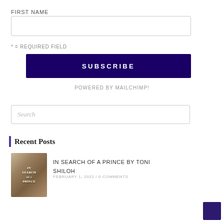First Name
[Figure (other): Text input field for First Name]
* = Required Field
SUBSCRIBE
Powered by MailChimp!
[Figure (other): Search input box with placeholder text 'Search']
Recent Posts
[Figure (illustration): Book cover for 'In Search of a Prince' by Toni Shiloh]
In Search Of A Prince by Toni Shiloh
February 1, 2022 / 0 Comments